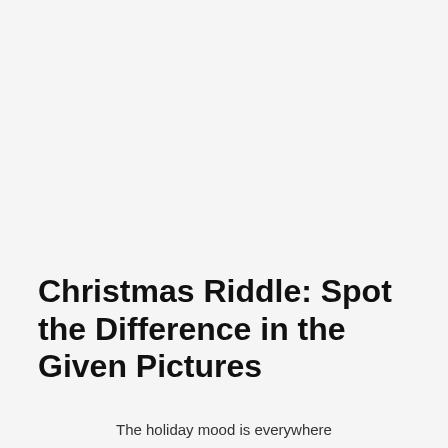Christmas Riddle: Spot the Difference in the Given Pictures
The holiday mood is everywhere